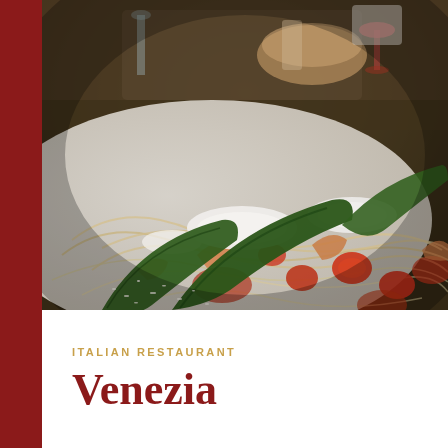[Figure (photo): Close-up photo of Italian pasta dish — spaghetti with cherry tomatoes, fresh basil leaves, shrimp, mozzarella cheese, and grated parmesan on a white plate. Background shows a restaurant setting with wine glasses and a bread basket.]
ITALIAN RESTAURANT
Venezia